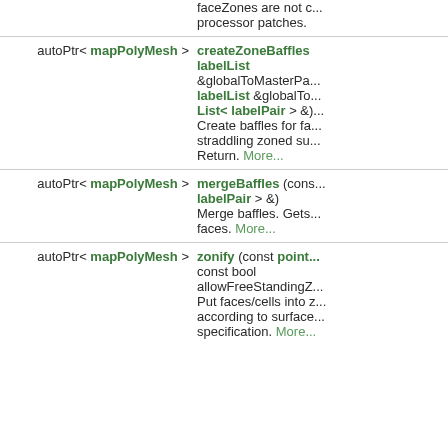| autoPtr< mapPolyMesh > | createZoneBaffles labelList &globalToMasterPa... labelList &globalTo... List< labelPair > &)... Create baffles for fa... straddling zoned su... Return. More... |
| autoPtr< mapPolyMesh > | mergeBaffles (cons... labelPair > &) Merge baffles. Gets... faces. More... |
| autoPtr< mapPolyMesh > | zonify (const point... const bool allowFreeStandingZ... Put faces/cells into z... according to surface... specification. More... |